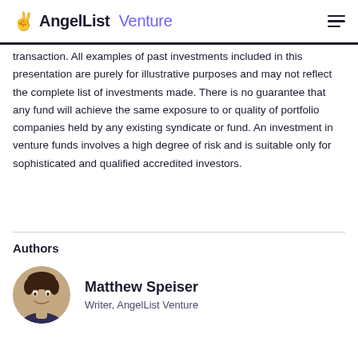AngelList Venture
transaction. All examples of past investments included in this presentation are purely for illustrative purposes and may not reflect the complete list of investments made. There is no guarantee that any fund will achieve the same exposure to or quality of portfolio companies held by any existing syndicate or fund. An investment in venture funds involves a high degree of risk and is suitable only for sophisticated and qualified accredited investors.
Authors
[Figure (photo): Circular headshot photo of Matthew Speiser, a young man with dark hair, smiling.]
Matthew Speiser
Writer, AngelList Venture